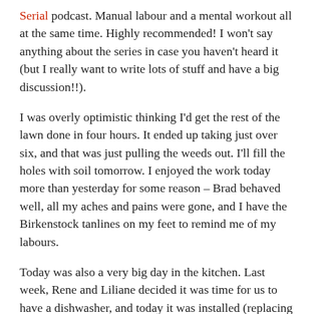Serial podcast. Manual labour and a mental workout all at the same time. Highly recommended! I won't say anything about the series in case you haven't heard it (but I really want to write lots of stuff and have a big discussion!!).
I was overly optimistic thinking I'd get the rest of the lawn done in four hours. It ended up taking just over six, and that was just pulling the weeds out. I'll fill the holes with soil tomorrow. I enjoyed the work today more than yesterday for some reason – Brad behaved well, all my aches and pains were gone, and I have the Birkenstock tanlines on my feet to remind me of my labours.
Today was also a very big day in the kitchen. Last week, Rene and Liliane decided it was time for us to have a dishwasher, and today it was installed (replacing the small bar fridge). Leo's eyes went wide when he found out about it, as he has lived here for 12 years without one. We don't really need it, but it's a lovely gesture and will be great when we entertain. Now we just need to buy more than the four plates and bowls we currently own! Ahahahahaha. No, that won't be happening. (Honestly, we'll probably only use it once a